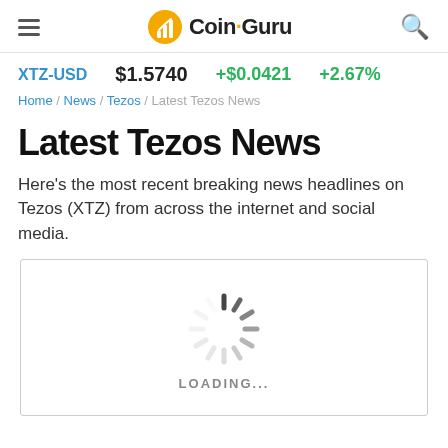Coin-Guru
XTZ-USD  $1.5740  +$0.0421  +2.67%
Home / News / Tezos / Latest Tezos News
Latest Tezos News
Here's the most recent breaking news headlines on Tezos (XTZ) from across the internet and social media.
[Figure (other): Loading spinner with LOADING... text below it, inside a bordered box]